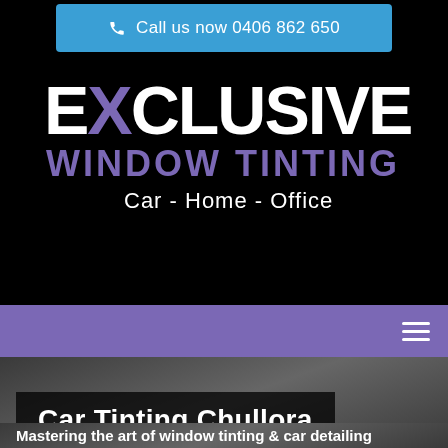[Figure (screenshot): Blue call-to-action button with phone icon and text 'Call us now 0406 862 650' on black background]
[Figure (logo): Exclusive Window Tinting logo with large white and purple text on black background, subtitle 'Car - Home - Office']
[Figure (screenshot): Purple navigation bar with hamburger menu icon on right]
Car Tinting Chullora
Mastering the art of window tinting & car detailing